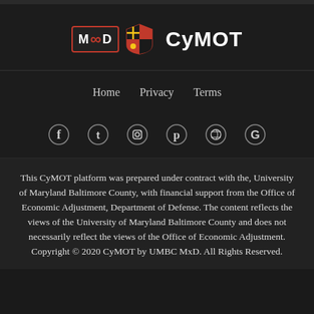[Figure (logo): MxD logo (red border box with M infinity D), Maryland shield logo, and CyMOT text branding]
Home   Privacy   Terms
[Figure (infographic): Social media icons: Facebook, Twitter, Instagram, Pinterest, Dribbble, Google]
This CyMOT platform was prepared under contract with the, University of Maryland Baltimore County, with financial support from the Office of Economic Adjustment, Department of Defense. The content reflects the views of the University of Maryland Baltimore County and does not necessarily reflect the views of the Office of Economic Adjustment. Copyright © 2020 CyMOT by UMBC MxD. All Rights Reserved.